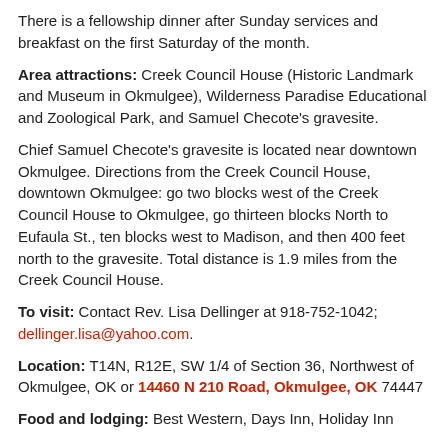There is a fellowship dinner after Sunday services and breakfast on the first Saturday of the month.
Area attractions: Creek Council House (Historic Landmark and Museum in Okmulgee), Wilderness Paradise Educational and Zoological Park, and Samuel Checote's gravesite.
Chief Samuel Checote's gravesite is located near downtown Okmulgee. Directions from the Creek Council House, downtown Okmulgee: go two blocks west of the Creek Council House to Okmulgee, go thirteen blocks North to Eufaula St., ten blocks west to Madison, and then 400 feet north to the gravesite. Total distance is 1.9 miles from the Creek Council House.
To visit: Contact Rev. Lisa Dellinger at 918-752-1042; dellinger.lisa@yahoo.com.
Location: T14N, R12E, SW 1/4 of Section 36, Northwest of Okmulgee, OK or 14460 N 210 Road, Okmulgee, OK 74447
Food and lodging: Best Western, Days Inn, Holiday Inn